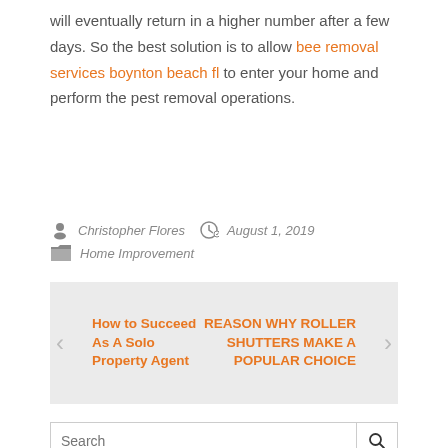will eventually return in a higher number after a few days. So the best solution is to allow bee removal services boynton beach fl to enter your home and perform the pest removal operations.
Christopher Flores   August 1, 2019   Home Improvement
[Figure (other): Navigation widget with previous post 'How to Succeed As A Solo Property Agent' on left and next post 'REASON WHY ROLLER SHUTTERS MAKE A POPULAR CHOICE' on right, with left and right arrow chevrons, on a light grey background.]
[Figure (other): Search input box with placeholder text 'Search' and a magnifying glass icon button on the right.]
POPULAR   RECENT   COMMENTS